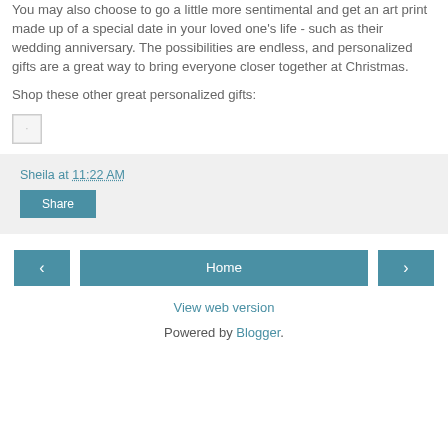You may also choose to go a little more sentimental and get an art print made up of a special date in your loved one's life - such as their wedding anniversary. The possibilities are endless, and personalized gifts are a great way to bring everyone closer together at Christmas.
Shop these other great personalized gifts:
[Figure (photo): Small thumbnail image placeholder]
Sheila at 11:22 AM
Share
Home
View web version
Powered by Blogger.